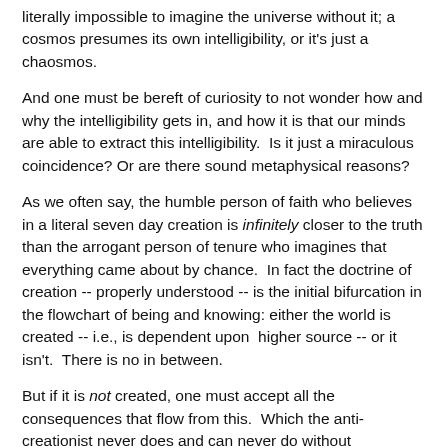Anyway, it's easy to take intelligibility for granted, since it is literally impossible to imagine the universe without it; a cosmos presumes its own intelligibility, or it's just a chaosmos.
And one must be bereft of curiosity to not wonder how and why the intelligibility gets in, and how it is that our minds are able to extract this intelligibility.  Is it just a miraculous coincidence? Or are there sound metaphysical reasons?
As we often say, the humble person of faith who believes in a literal seven day creation is infinitely closer to the truth than the arrogant person of tenure who imagines that everything came about by chance.  In fact the doctrine of creation -- properly understood -- is the initial bifurcation in the flowchart of being and knowing: either the world is created -- i.e., is dependent upon  higher source -- or it isn't.  There is no in between.
But if it is not created, one must accept all the consequences that flow from this.  Which the anti-creationist never does and can never do without committing intellectual suicide.